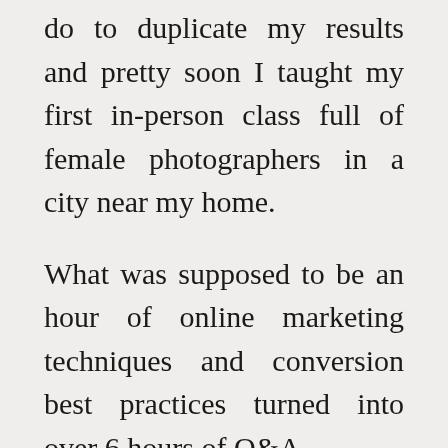do to duplicate my results and pretty soon I taught my first in-person class full of female photographers in a city near my home.
What was supposed to be an hour of online marketing techniques and conversion best practices turned into over 6 hours of Q&A.
They were HUNGRY for help.